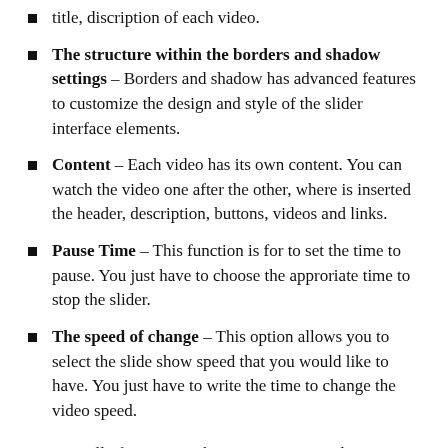title, discription of each video.
The structure within the borders and shadow settings – Borders and shadow has advanced features to customize the design and style of the slider interface elements.
Content – Each video has its own content. You can watch the video one after the other, where is inserted the header, description, buttons, videos and links.
Pause Time – This function is for to set the time to pause. You just have to choose the approriate time to stop the slider.
The speed of change – This option allows you to select the slide show speed that you would like to have. You just have to write the time to change the video speed.
Imagine all of your Youtube, Vimeo, Vevo and MP4 format videos through our fantastic Video Slider